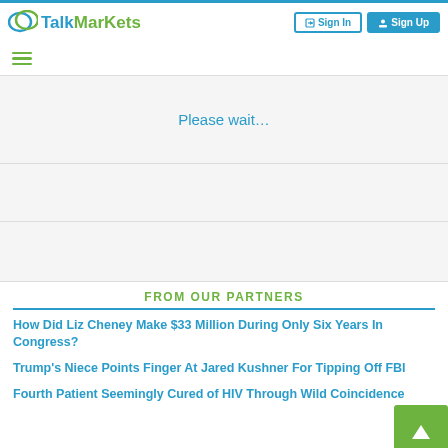TalkMarkets — Sign In | Sign Up
Please wait…
FROM OUR PARTNERS
How Did Liz Cheney Make $33 Million During Only Six Years In Congress?
Trump's Niece Points Finger At Jared Kushner For Tipping Off FBI
Fourth Patient Seemingly Cured of HIV Through Wild Coincidence